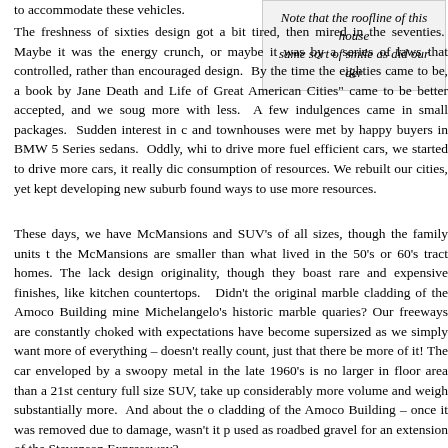to accommodate these vehicles.
Note that the roofline of this house same sort of smile as did our der
The freshness of sixties design got a bit tired, then mired in the seventies. Maybe it was the energy crunch, or maybe it was by a series of laws that controlled, rather than encouraged design. By the time the eighties came to be, a book by Jane Death and Life of Great American Cities" came to be better accepted, and we soug more with less. A few indulgences came in small packages. Sudden interest in c and townhouses were met by happy buyers in BMW 5 Series sedans. Oddly, whi to drive more fuel efficient cars, we started to drive more cars, it really dic consumption of resources. We rebuilt our cities, yet kept developing new suburb found ways to use more resources.
These days, we have McMansions and SUV's of all sizes, though the family units t the McMansions are smaller than what lived in the 50's or 60's tract homes. The lack design originality, though they boast rare and expensive finishes, like kitchen countertops. Didn't the original marble cladding of the Amoco Building mine Michelangelo's historic marble quaries? Our freeways are constantly choked with expectations have become supersized as we simply want more of everything – doesn't really count, just that there be more of it! The car enveloped by a swoopy metal in the late 1960's is no larger in floor area than a 21st century full size SUV, take up considerably more volume and weigh substantially more. And about the o cladding of the Amoco Building – once it was removed due to damage, wasn't it p used as roadbed gravel for an extension of the Stevenson Expressway?